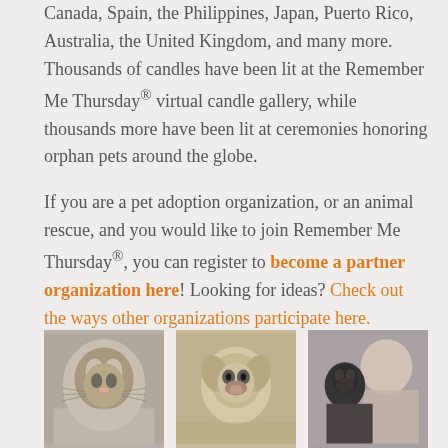Canada, Spain, the Philippines, Japan, Puerto Rico, Australia, the United Kingdom, and many more. Thousands of candles have been lit at the Remember Me Thursday® virtual candle gallery, while thousands more have been lit at ceremonies honoring orphan pets around the globe.
If you are a pet adoption organization, or an animal rescue, and you would like to join Remember Me Thursday®, you can register to become a partner organization here! Looking for ideas? Check out the ways other organizations participate here.
[Figure (photo): Three black-and-white photos side by side: a tabby cat being held, a puppy (chihuahua mix) looking up at camera, and a woman hugging a black cat.]